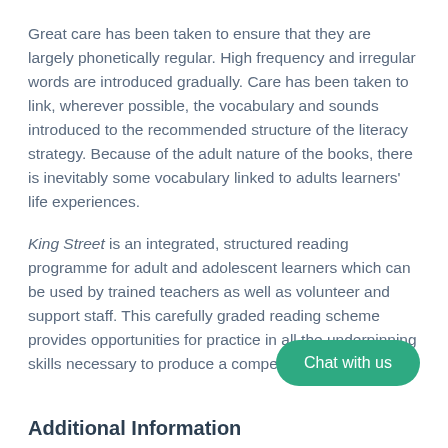Great care has been taken to ensure that they are largely phonetically regular. High frequency and irregular words are introduced gradually. Care has been taken to link, wherever possible, the vocabulary and sounds introduced to the recommended structure of the literacy strategy. Because of the adult nature of the books, there is inevitably some vocabulary linked to adults learners' life experiences.
King Street is an integrated, structured reading programme for adult and adolescent learners which can be used by trained teachers as well as volunteer and support staff. This carefully graded reading scheme provides opportunities for practice in all the underpinning skills necessary to produce a competent reader.
[Figure (other): Green rounded button labeled 'Chat with us']
Additional Information